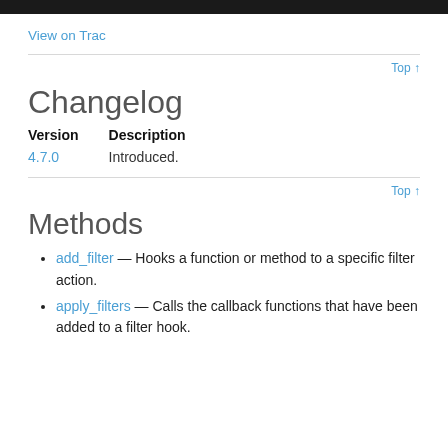View on Trac
Top ↑
Changelog
| Version | Description |
| --- | --- |
| 4.7.0 | Introduced. |
Top ↑
Methods
add_filter — Hooks a function or method to a specific filter action.
apply_filters — Calls the callback functions that have been added to a filter hook.